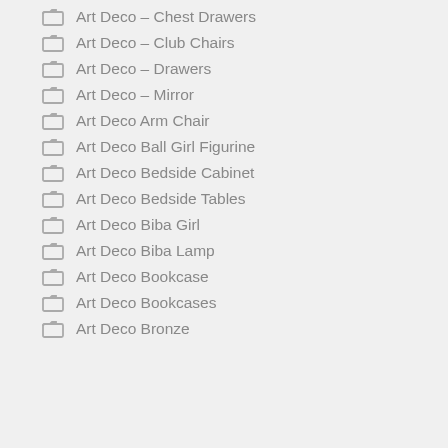Art Deco – Chest Drawers
Art Deco – Club Chairs
Art Deco – Drawers
Art Deco – Mirror
Art Deco Arm Chair
Art Deco Ball Girl Figurine
Art Deco Bedside Cabinet
Art Deco Bedside Tables
Art Deco Biba Girl
Art Deco Biba Lamp
Art Deco Bookcase
Art Deco Bookcases
Art Deco Bronze